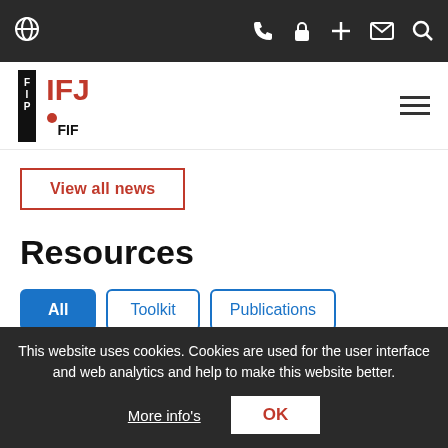IFJ website navigation bar with globe, phone, lock, plus, mail, and search icons
[Figure (logo): IFJ/FIP logo in black and red on white background with hamburger menu icon on right]
View all news
Resources
All
Toolkit
Publications
Links
This website uses cookies. Cookies are used for the user interface and web analytics and help to make this website better.
More info's
OK